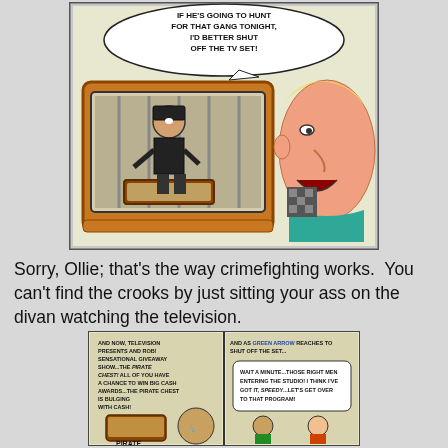[Figure (illustration): Vintage comic book panel showing a man watching TV with a pirate character on screen, and a speech bubble reading 'IF HE'S GOING TO HUNT FOR THAT GANG TONIGHT, I'D BETTER SHUT OFF THE TV SET!']
Sorry, Ollie; that's the way crimefighting works.  You can't find the crooks by just sitting your ass on the divan watching the television.
[Figure (illustration): Second vintage comic book panel showing two comic frames: left frame with text about a pirate chest giveaway show, right frame with Green Arrow reaching to shut off the TV set, with Speedy.]